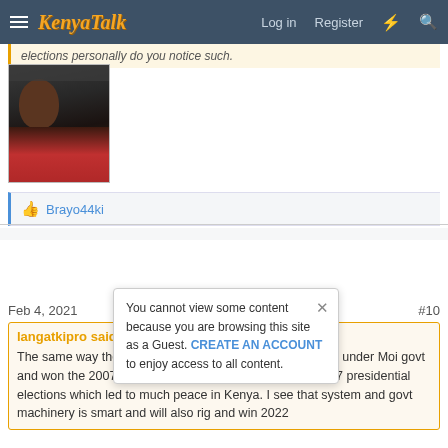KenyaTalk — Log in  Register
elections personally do you notice such.
[Figure (photo): A photo of a person sitting in a car, dark-skinned child/person visible, wearing a red top.]
👍 Brayo44ki
Young Sponsor
Village Elder
Feb 4, 2021   #10
langatkipro said: ↗
The same way the govt machinery won the 2002 elections under Moi govt and won the 2007 presidential elections… and rigged 2007 presidential elections which led to much peace in Kenya. I see that system and govt machinery is smart and will also rig and win 2022
You cannot view some content because you are browsing this site as a Guest. CREATE AN ACCOUNT to enjoy access to all content.